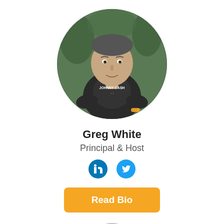[Figure (photo): Circular profile photo of Greg White, a man wearing a dark Johnny Cash t-shirt, outdoors with greenery in background]
Greg White
Principal & Host
[Figure (infographic): LinkedIn and Twitter social media icon buttons in blue circles]
Read Bio
[Figure (photo): Circular profile photo of a second person, partially visible, man with dark hair outdoors with greenery background]